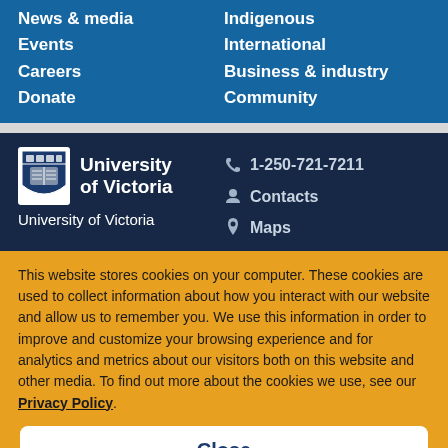News & media
Events
Careers
Donate
Indigenous
International
Business & industry
Community
[Figure (logo): University of Victoria crest/shield logo]
University of Victoria
1-250-721-7211
Contacts
Maps
This website stores cookies on your computer. These cookies are used to collect information about how you interact with our website and allow us to remember you. We use this information in order to improve and customize your browsing experience and for analytics and metrics about our visitors both on this website and other media. To find out more about the cookies we use, see our Privacy Policy.
Close